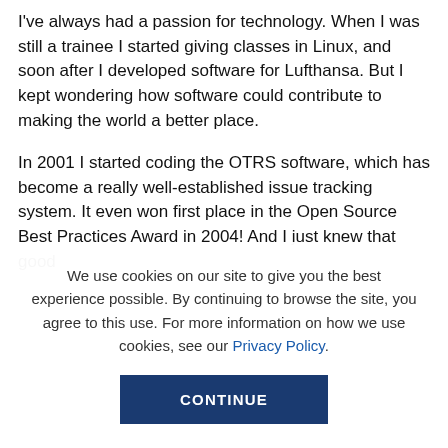I've always had a passion for technology. When I was still a trainee I started giving classes in Linux, and soon after I developed software for Lufthansa. But I kept wondering how software could contribute to making the world a better place.
In 2001 I started coding the OTRS software, which has become a really well-established issue tracking system. It even won first place in the Open Source Best Practices Award in 2004! And I just knew that good...
We use cookies on our site to give you the best experience possible. By continuing to browse the site, you agree to this use. For more information on how we use cookies, see our Privacy Policy.
CONTINUE